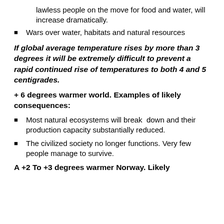lawless people on the move for food and water, will increase dramatically.
Wars over water, habitats and natural resources
If global average temperature rises by more than 3 degrees it will be extremely difficult to prevent a rapid continued rise of temperatures to both 4 and 5 centigrades.
+ 6 degrees warmer world. Examples of likely consequences:
Most natural ecosystems will break  down and their production capacity substantially reduced.
The civilized society no longer functions. Very few people manage to survive.
A +2 To +3 degrees warmer Norway. Likely